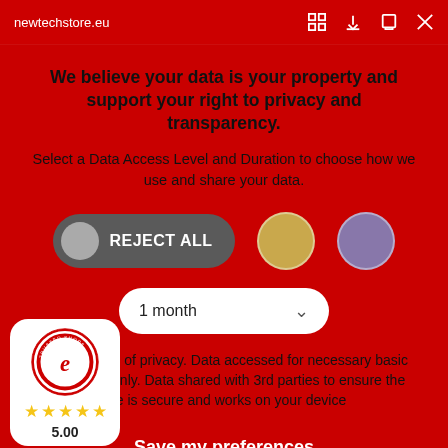newtechstore.eu
We believe your data is your property and support your right to privacy and transparency.
Select a Data Access Level and Duration to choose how we use and share your data.
[Figure (infographic): Three privacy option buttons: REJECT ALL (dark grey pill with grey circle), a gold circle option, and a purple circle option. Below them is a dropdown showing '1 month' with a chevron.]
Highest level of privacy. Data accessed for necessary basic operations only. Data shared with 3rd parties to ensure the site is secure and works on your device
Save my preferences
[Figure (logo): Trusted Shops Guarantee badge with 'e' logo, 5 yellow stars, and rating 5.00]